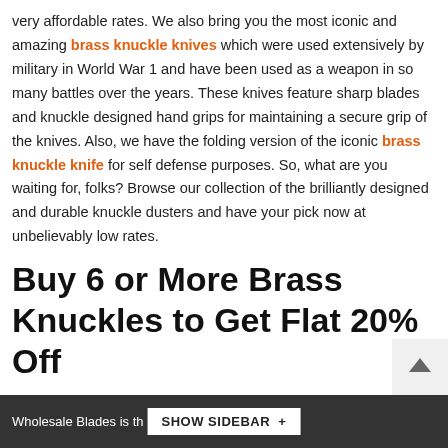very affordable rates. We also bring you the most iconic and amazing brass knuckle knives which were used extensively by military in World War 1 and have been used as a weapon in so many battles over the years. These knives feature sharp blades and knuckle designed hand grips for maintaining a secure grip of the knives. Also, we have the folding version of the iconic brass knuckle knife for self defense purposes. So, what are you waiting for, folks? Browse our collection of the brilliantly designed and durable knuckle dusters and have your pick now at unbelievably low rates.
Buy 6 or More Brass Knuckles to Get Flat 20% Off
Wholesale Blades is the best and most | SHOW SIDEBAR +